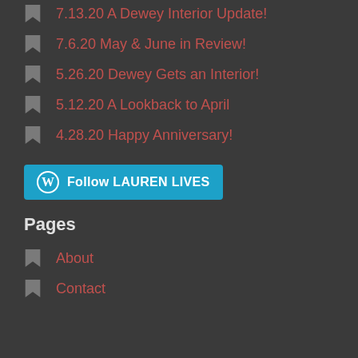7.13.20 A Dewey Interior Update!
7.6.20 May & June in Review!
5.26.20 Dewey Gets an Interior!
5.12.20 A Lookback to April
4.28.20 Happy Anniversary!
[Figure (other): Follow LAUREN LIVES button with WordPress logo]
Pages
About
Contact